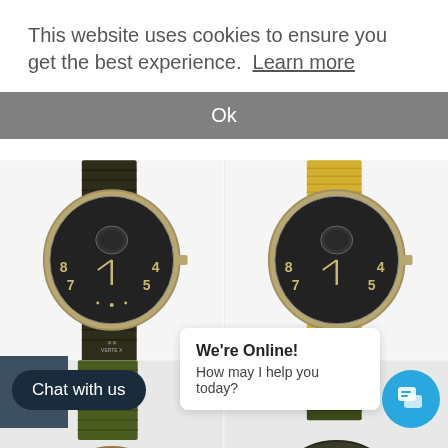This website uses cookies to ensure you get the best experience. Learn more
Ok
[Figure (photo): Military-style wristwatch with dark dial, arabic numerals 4,5,7,8, subsidiary seconds dial, gold-tone case, dark olive/black NATO strap]
[Figure (photo): Military-style wristwatch with dark dial, arabic numerals, subsidiary seconds dial, gold-tone case, yellow NATO strap]
[Figure (photo): Military-style wristwatch with dark dial, gold-tone case, olive green NATO strap, close-up partial view]
[Figure (photo): Vertex branded military wristwatch with dark dial showing 12, 1, 2, 11 numerals, dark case, olive green NATO strap]
Chat with us
We're Online!
How may I help you today?